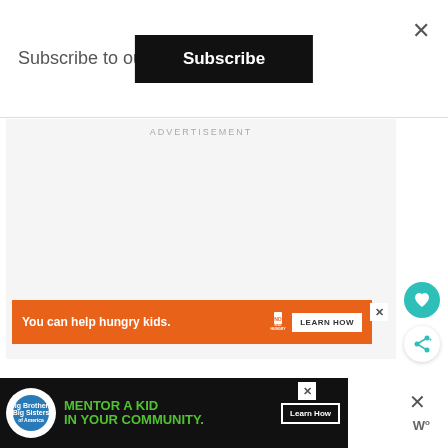Subscribe to our newsletter
Subscribe
×
ADVERTISEMENT
[Figure (infographic): Orange advertisement banner: 'You can help hungry kids.' with No Kid Hungry logo and 'LEARN HOW' button]
[Figure (infographic): Black advertisement banner for Big Brothers Big Sisters: 'Mentor a Kid in Your Community' with Learn How button]